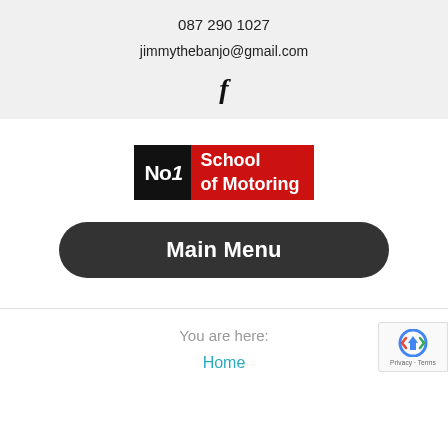087 290 1027
jimmythebanjo@gmail.com
[Figure (logo): Facebook 'f' icon]
[Figure (logo): No1 School of Motoring logo — black block with 'No1' and red block with 'School of Motoring']
Main Menu
You are here:
Home
[Figure (other): reCAPTCHA badge with Privacy and Terms text]